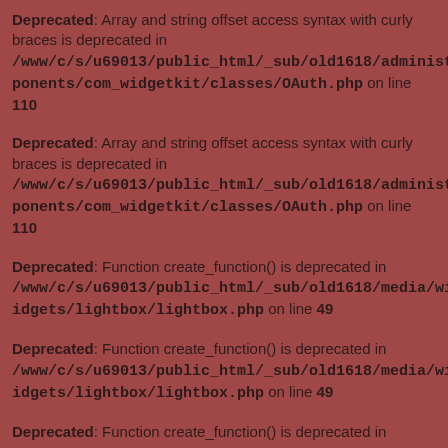Deprecated: Array and string offset access syntax with curly braces is deprecated in /www/c/s/u69013/public_html/_sub/old1618/administrator/components/com_widgetkit/classes/OAuth.php on line 110
Deprecated: Array and string offset access syntax with curly braces is deprecated in /www/c/s/u69013/public_html/_sub/old1618/administrator/components/com_widgetkit/classes/OAuth.php on line 110
Deprecated: Function create_function() is deprecated in /www/c/s/u69013/public_html/_sub/old1618/media/widgetkit/widgets/lightbox/lightbox.php on line 49
Deprecated: Function create_function() is deprecated in /www/c/s/u69013/public_html/_sub/old1618/media/widgetkit/widgets/lightbox/lightbox.php on line 49
Deprecated: Function create_function() is deprecated in